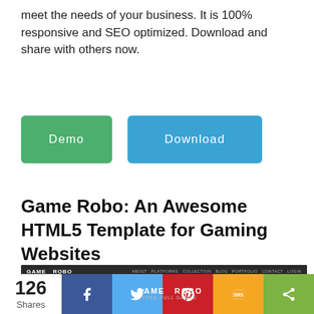meet the needs of your business. It is 100% responsive and SEO optimized. Download and share with others now.
[Figure (other): Two buttons: green 'Demo' button and blue 'Download' button]
Game Robo: An Awesome HTML5 Template for Gaming Websites
[Figure (screenshot): Screenshot of Game Robo website template showing dark gaming theme with navigation bar, hero area with 'GAME ROBO FREE FULL GAMES' text and a mobile device mockup]
[Figure (other): Social share bar showing 126 Shares, Facebook, Twitter, Pinterest, SMS, and share more buttons]